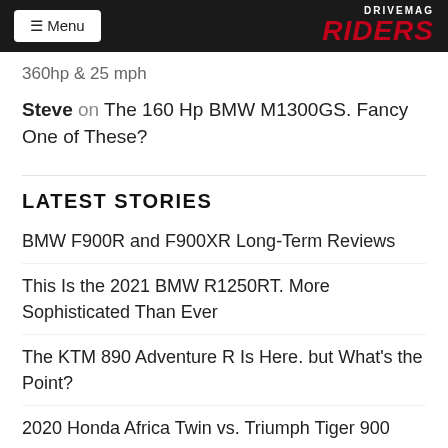Menu | DRIVEMAG RIDERS
360hp & 25 mph
Steve on The 160 Hp BMW M1300GS. Fancy One of These?
LATEST STORIES
BMW F900R and F900XR Long-Term Reviews
This Is the 2021 BMW R1250RT. More Sophisticated Than Ever
The KTM 890 Adventure R Is Here. but What's the Point?
2020 Honda Africa Twin vs. Triumph Tiger 900
This Is the 2021 BMW R1250GS/GSA: Adaptive